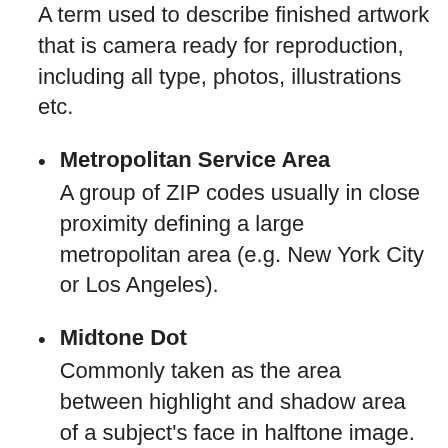A term used to describe finished artwork that is camera ready for reproduction, including all type, photos, illustrations etc.
Metropolitan Service Area: A group of ZIP codes usually in close proximity defining a large metropolitan area (e.g. New York City or Los Angeles).
Midtone Dot: Commonly taken as the area between highlight and shadow area of a subject's face in halftone image.
Moire: An undesirable halftone pattern produced